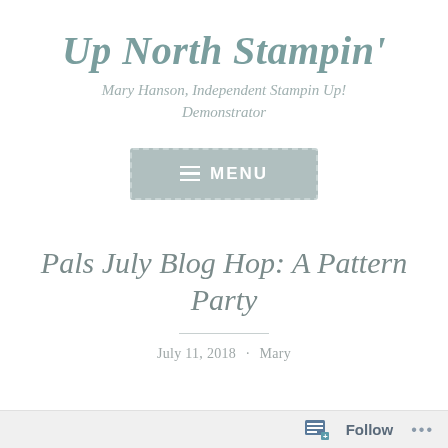Up North Stampin'
Mary Hanson, Independent Stampin Up! Demonstrator
[Figure (other): Menu navigation button with hamburger icon and MENU label, grey dashed border]
Pals July Blog Hop: A Pattern Party
July 11, 2018 · Mary
Follow ...